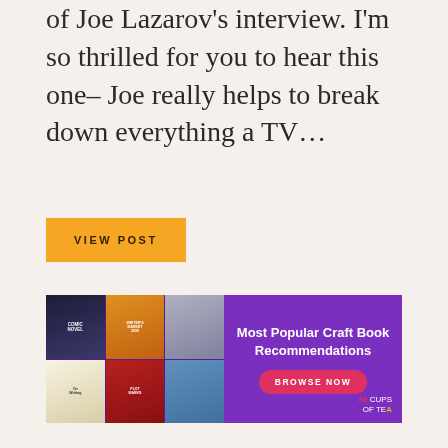of Joe Lazarov's interview. I'm so thrilled for you to hear this one– Joe really helps to break down everything a TV…
VIEW POST
[Figure (illustration): Banner advertisement on purple background showing book covers on the left side and text 'Most Popular Craft Book Recommendations' with a 'BROWSE NOW' button and '88 Cups of Tea' logo on the right.]